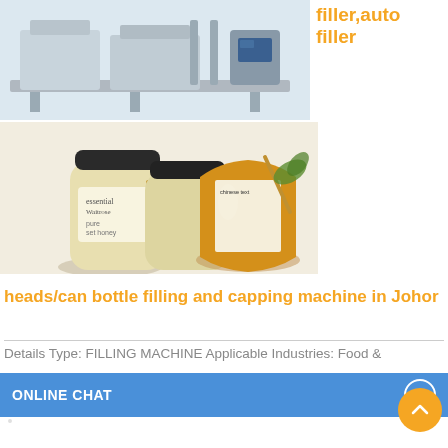[Figure (photo): Industrial filling machine on a conveyor line, shown from the side, grey/silver machinery]
filler,auto filler
[Figure (photo): Two essential Waitrose pure set honey jars on the left, and a Chinese-branded honey jar with dipper on the right]
heads/can bottle filling and capping machine in Johor
Details Type: FILLING MACHINE Applicable Industries: Food &
ONLINE CHAT
[Figure (photo): Avatar photo of a young woman named Cilina in a white shirt]
Cilina
Hi,welcome to visit our website.